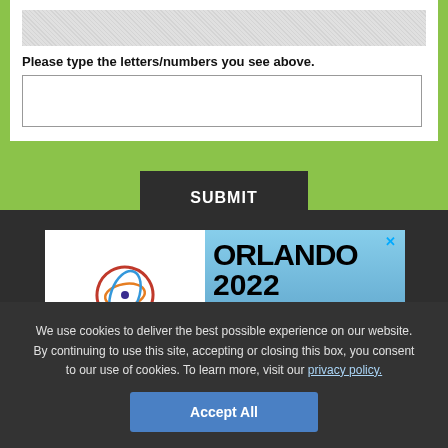[Figure (screenshot): CAPTCHA image showing distorted letters/numbers on noisy background]
Please type the letters/numbers you see above.
[Figure (screenshot): Empty text input box for CAPTCHA entry]
SUBMIT
[Figure (infographic): Live! 360 Tech Events conference advertisement banner for Orlando 2022 with Register Now button and IT DEV DATA text]
We use cookies to deliver the best possible experience on our website. By continuing to use this site, accepting or closing this box, you consent to our use of cookies. To learn more, visit our privacy policy.
Accept All